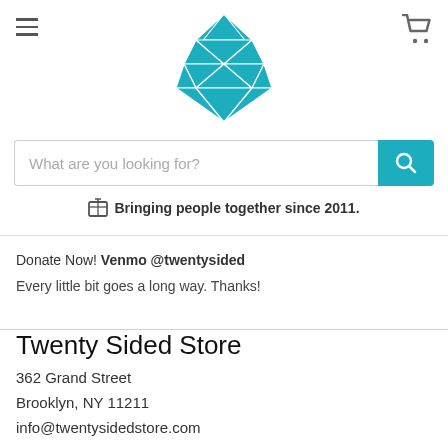[Figure (logo): Twenty Sided Store logo: a teal/cyan icosahedron (d20 die) geometric shape]
[Figure (other): Hamburger menu icon (three horizontal lines) in top left]
[Figure (other): Shopping cart icon in top right]
What are you looking for?
Bringing people together since 2011.
Donate Now! Venmo @twentysided
Every little bit goes a long way. Thanks!
Twenty Sided Store
362 Grand Street
Brooklyn, NY 11211
info@twentysidedstore.com